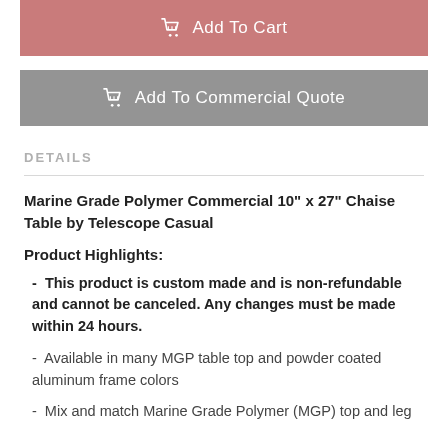Add To Cart
Add To Commercial Quote
DETAILS
Marine Grade Polymer Commercial 10" x 27" Chaise Table by Telescope Casual
Product Highlights:
This product is custom made and is non-refundable and cannot be canceled. Any changes must be made within 24 hours.
Available in many MGP table top and powder coated aluminum frame colors
Mix and match Marine Grade Polymer (MGP) top and leg